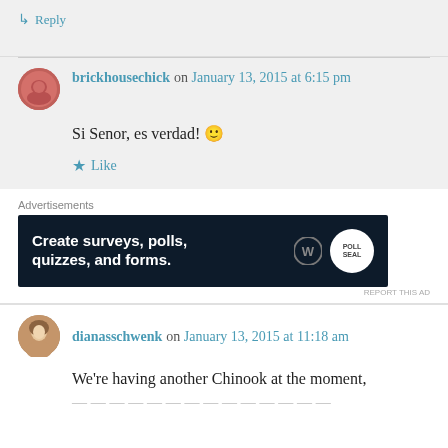↳ Reply
brickhousechick on January 13, 2015 at 6:15 pm
Si Senor, es verdad! 🙂
★ Like
Advertisements
[Figure (screenshot): Advertisement banner with dark navy background reading 'Create surveys, polls, quizzes, and forms.' with WordPress logo and a circular badge logo on the right.]
REPORT THIS AD
dianasschwenk on January 13, 2015 at 11:18 am
We're having another Chinook at the moment,